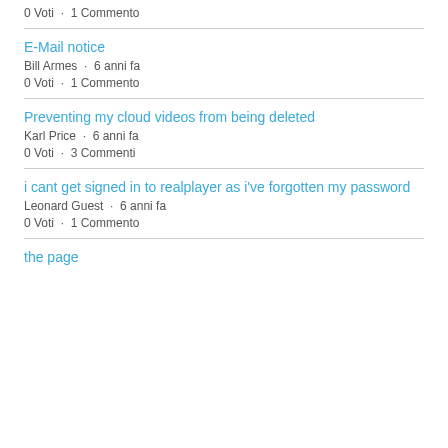0 Voti  ·  1 Commento
E-Mail notice
Bill Armes  ·  6 anni fa
0 Voti  ·  1 Commento
Preventing my cloud videos from being deleted
Karl Price  ·  6 anni fa
0 Voti  ·  3 Commenti
i cant get signed in to realplayer as i've forgotten my password
Leonard Guest  ·  6 anni fa
0 Voti  ·  1 Commento
the page